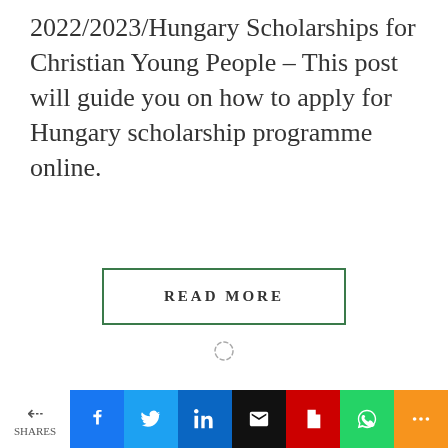2022/2023/Hungary Scholarships for Christian Young People – This post will guide you on how to apply for Hungary scholarship programme online.
READ MORE
[Figure (other): Loading spinner icon (circular dashed ring)]
Select Language (dropdown) Powered by Google Translate
SHARES (social share bar with Facebook, Twitter, LinkedIn, Email, PDF, WhatsApp, More buttons)